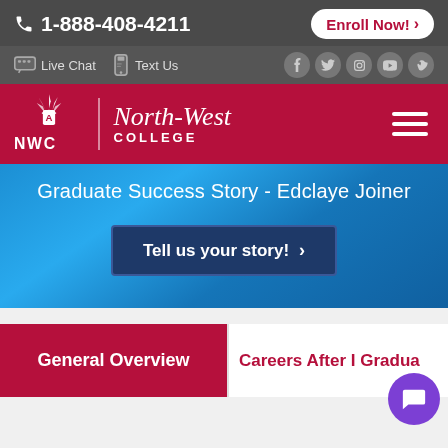1-888-408-4211  Enroll Now!
Live Chat  Text Us
[Figure (logo): NWC North-West College logo with hamburger menu]
Graduate Success Story - Edclaye Joiner
Tell us your story!
General Overview
Careers After I Gradua...